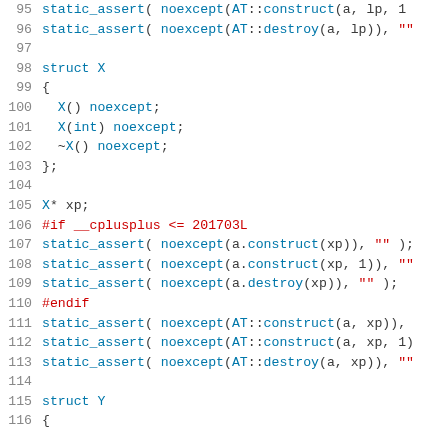[Figure (screenshot): C++ source code snippet showing lines 95-116 with struct X definition, static_assert noexcept checks for construct/destroy operations, preprocessor conditional #if __cplusplus <= 201703L, and beginning of struct Y]